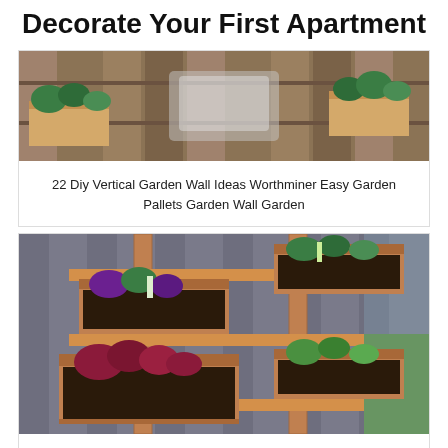Decorate Your First Apartment
[Figure (photo): Photo of a pallet garden wall with planters and green plants against a wooden fence background]
22 Diy Vertical Garden Wall Ideas Worthminer Easy Garden Pallets Garden Wall Garden
[Figure (photo): Photo of wooden box planters mounted on vertical supports against a wooden fence, filled with plants and herbs]
Pin On Vertical Garden
✕ CLOSE